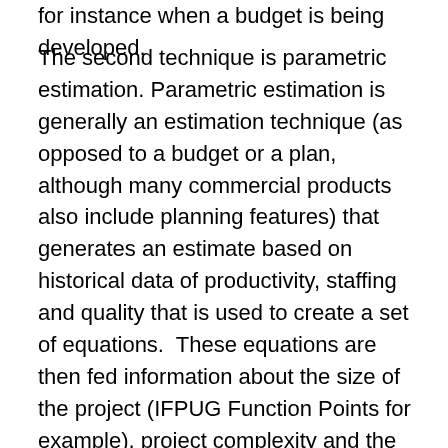for instance when a budget is being developed.
The second technique is parametric estimation. Parametric estimation is generally an estimation technique (as opposed to a budget or a plan, although many commercial products also include planning features) that generates an estimate based on historical data of productivity, staffing and quality that is used to create a set of equations.  These equations are then fed information about the size of the project (IFPUG Function Points for example), project complexity and the predicted capabilities of the team.  Tools like SEER-SIM and COCOMO II are parametric estimation tool. The strengths of parametric estimates are derived from the historical performance data they use to generate the estimates and the enforced rigorous estimation process.  The weakness of any parametric based estimation model is that they require the